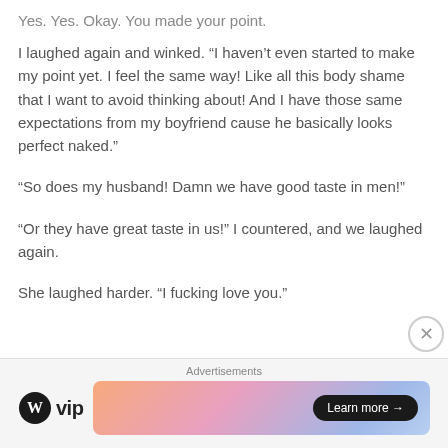Yes. Yes. Okay. You made your point.
I laughed again and winked. “I haven’t even started to make my point yet. I feel the same way! Like all this body shame that I want to avoid thinking about! And I have those same expectations from my boyfriend cause he basically looks perfect naked.”
“So does my husband! Damn we have good taste in men!”
“Or they have great taste in us!” I countered, and we laughed again.
She laughed harder. “I fucking love you.”
Advertisements
[Figure (logo): WordPress VIP logo with circle W icon and 'vip' text]